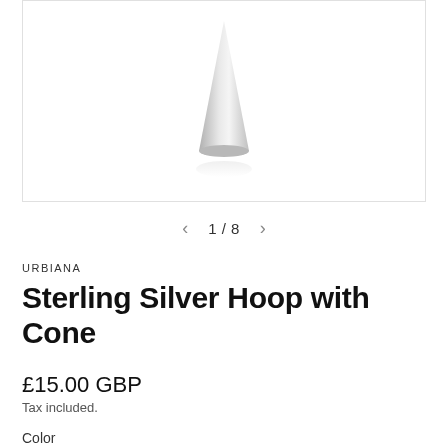[Figure (photo): Partial product photo of a sterling silver cone earring on white background, showing bottom portion of the cone shape]
1 / 8
URBIANA
Sterling Silver Hoop with Cone
£15.00 GBP
Tax included.
Color